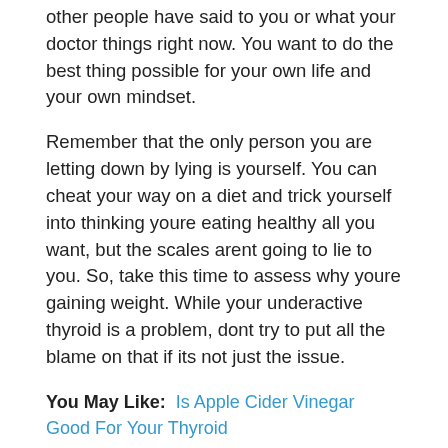other people have said to you or what your doctor things right now. You want to do the best thing possible for your own life and your own mindset.
Remember that the only person you are letting down by lying is yourself. You can cheat your way on a diet and trick yourself into thinking youre eating healthy all you want, but the scales arent going to lie to you. So, take this time to assess why youre gaining weight. While your underactive thyroid is a problem, dont try to put all the blame on that if its not just the issue.
You May Like: Is Apple Cider Vinegar Good For Your Thyroid
Rule Out Hypothalamic Obesity Disorder